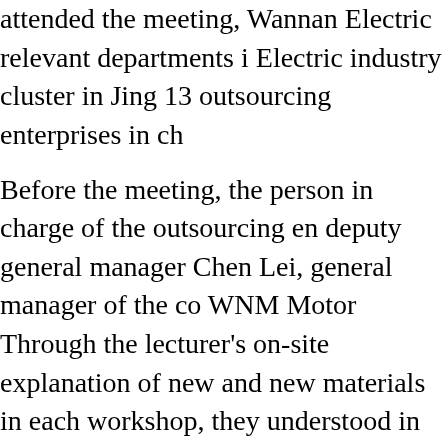attended the meeting, Wannan Electric relevant departments i Electric industry cluster in Jing 13 outsourcing enterprises in ch
Before the meeting, the person in charge of the outsourcing en deputy general manager Chen Lei, general manager of the co WNM Motor Through the lecturer's on-site explanation of new and new materials in each workshop, they understood in detail research level, process level and management level of Wanna were full of confidence in the high-quality development of Wan and increase efficiency and accelerate transformation.
During the meeting, the quality department reported on the qu outsourcing enterprises, the process department put forward r execution, and the minister of the production and manufacturin conscientious execution of the delivery plan by the outsourcin that quality issues need to be managed together.
Each department spoke successively, focusing on the develop motors, the consistency of product appearance quality and the management. The company would continuously increase inve